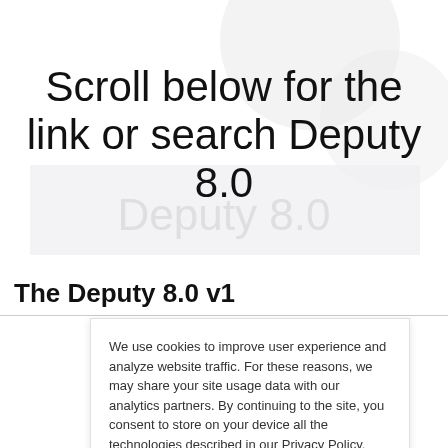Scroll below for the link or search Deputy 8.0
The Deputy 8.0 v1
We use cookies to improve user experience and analyze website traffic. For these reasons, we may share your site usage data with our analytics partners. By continuing to the site, you consent to store on your device all the technologies described in our Privacy Policy.